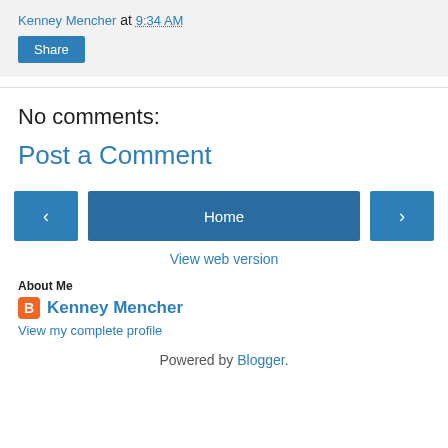Kenney Mencher at 9:34 AM
Share
No comments:
Post a Comment
‹  Home  ›
View web version
About Me
Kenney Mencher
View my complete profile
Powered by Blogger.